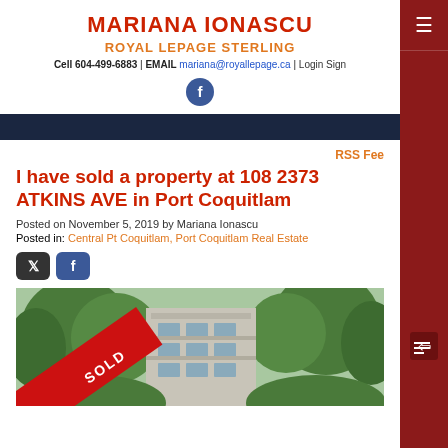MARIANA IONASCU
ROYAL LEPAGE STERLING
Cell 604-499-6883 | EMAIL mariana@royallepage.ca | Login Sign
I have sold a property at 108 2373 ATKINS AVE in Port Coquitlam
Posted on November 5, 2019 by Mariana Ionascu
Posted in: Central Pt Coquitlam, Port Coquitlam Real Estate
[Figure (photo): Exterior photo of a multi-storey residential building surrounded by trees, with a red SOLD ribbon overlay in the bottom-left corner]